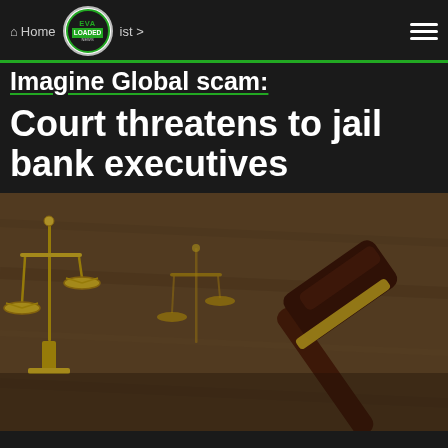Home  >  ...ist  >
Imagine Global scam: Court threatens to jail bank executives
[Figure (photo): A judge's wooden gavel resting on a surface next to a golden balance of justice scale, set against a blurred wooden background. The gavel has a dark wooden handle with a gold band near the head.]